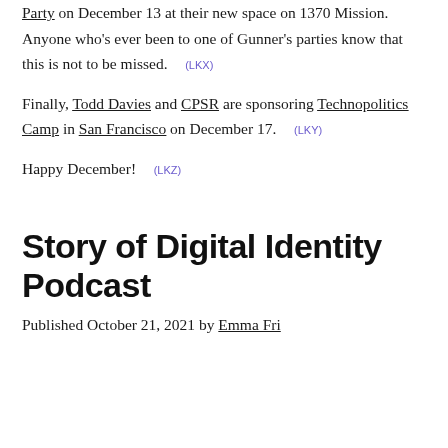Party on December 13 at their new space on 1376 Mission. Anyone who's ever been to one of Gunner's parties know that this is not to be missed. (LKX)
Finally, Todd Davies and CPSR are sponsoring Technopolitics Camp in San Francisco on December 17. (LKY)
Happy December! (LKZ)
Story of Digital Identity Podcast
Published October 21, 2021 by ...